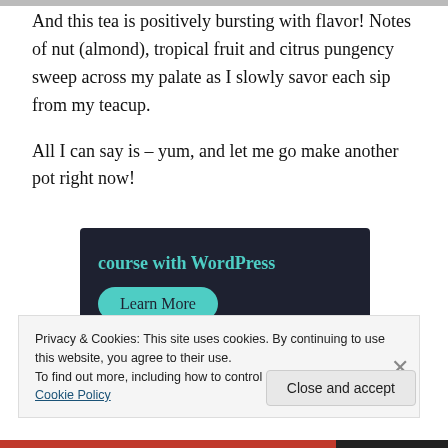And this tea is positively bursting with flavor! Notes of nut (almond), tropical fruit and citrus pungency sweep across my palate as I slowly savor each sip from my teacup.
All I can say is – yum, and let me go make another pot right now!
[Figure (other): Dark navy advertisement banner with teal text reading 'course with WordPress' and a teal rounded button labeled 'Learn More']
Privacy & Cookies: This site uses cookies. By continuing to use this website, you agree to their use.
To find out more, including how to control cookies, see here: Cookie Policy
Close and accept